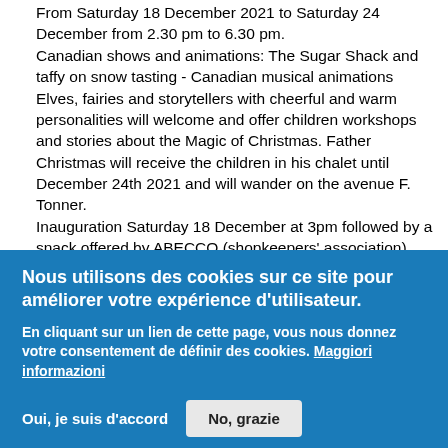From Saturday 18 December 2021 to Saturday 24 December from 2.30 pm to 6.30 pm.
Canadian shows and animations: The Sugar Shack and taffy on snow tasting - Canadian musical animations
Elves, fairies and storytellers with cheerful and warm personalities will welcome and offer children workshops and stories about the Magic of Christmas. Father Christmas will receive the children in his chalet until December 24th 2021 and will wander on the avenue F. Tonner.
Inauguration Saturday 18 December at 3pm followed by a snack offered by ABECCO (shopkeepers' association)
Saturday 18 December from 3pm
From 3pm to 5pm: entertainment for children: inflatable structures, make-up stands on the theme of Christmas, sound system, entertainment and distribution of goodies and gifts.
From 5 to 8 pm: 1st part: young talent contest; 2nd part: artists' stage
Free entertainment
Commercial fortnight organised by ABECCO
ABECCO is organising a "commercial fortnight" from 13 to 26 December 2021. 30,000 scratch tickets will be distributed by the
Nous utilisons des cookies sur ce site pour améliorer votre expérience d'utilisateur.
En cliquant sur un lien de cette page, vous nous donnez votre consentement de définir des cookies. Maggiori informazioni
Oui, je suis d'accord   No, grazie